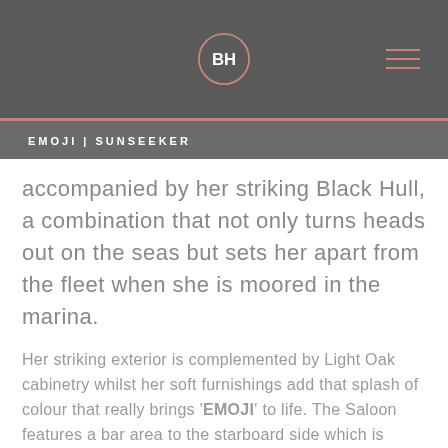BH logo and navigation
EMOJI | SUNSEEKER
accompanied by her striking Black Hull, a combination that not only turns heads out on the seas but sets her apart from the fleet when she is moored in the marina.
Her striking exterior is complemented by Light Oak cabinetry whilst her soft furnishings add that splash of colour that really brings 'EMOJI' to life. The Saloon features a bar area to the starboard side which is perfectly